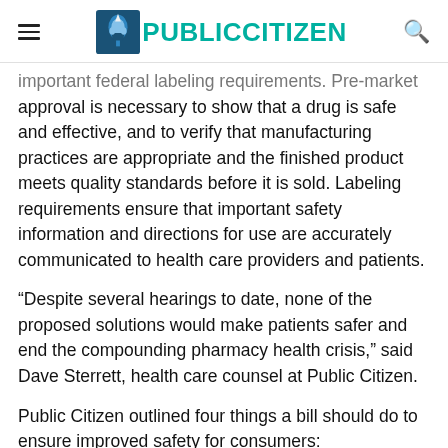Public Citizen
important federal labeling requirements. Pre-market approval is necessary to show that a drug is safe and effective, and to verify that manufacturing practices are appropriate and the finished product meets quality standards before it is sold. Labeling requirements ensure that important safety information and directions for use are accurately communicated to health care providers and patients.
“Despite several hearings to date, none of the proposed solutions would make patients safer and end the compounding pharmacy health crisis,” said Dave Sterrett, health care counsel at Public Citizen.
Public Citizen outlined four things a bill should do to ensure improved safety for consumers: